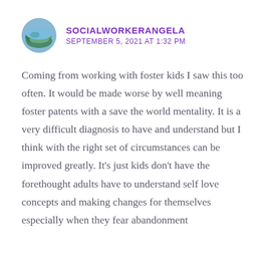[Figure (photo): Circular avatar photo of a landscape with trees and water, used as user profile picture]
SOCIALWORKERANGELA
SEPTEMBER 5, 2021 AT 1:32 PM
Coming from working with foster kids I saw this too often. It would be made worse by well meaning foster patents with a save the world mentality. It is a very difficult diagnosis to have and understand but I think with the right set of circumstances can be improved greatly. It’s just kids don’t have the forethought adults have to understand self love concepts and making changes for themselves especially when they fear abandonment